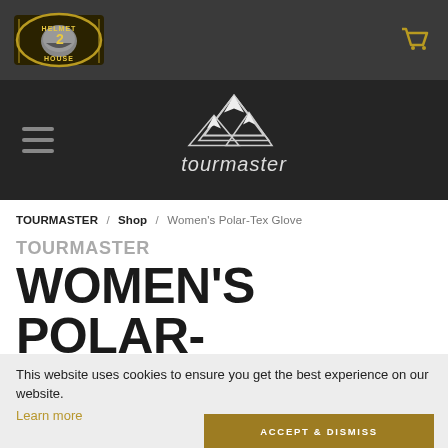[Figure (logo): Helmet House logo on dark gray top navigation bar with a shopping cart icon on the right]
[Figure (logo): Tourmaster brand logo centered on dark banner with mountain graphic and script tourmaster text, hamburger menu icon on left]
TOURMASTER / Shop / Women's Polar-Tex Glove
TOURMASTER
WOMEN'S POLAR-
This website uses cookies to ensure you get the best experience on our website.
Learn more
$59.99
ACCEPT & DISMISS